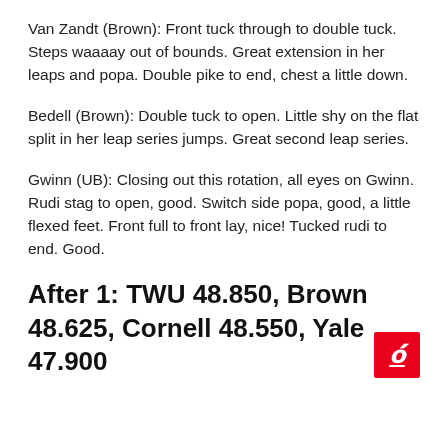Van Zandt (Brown): Front tuck through to double tuck. Steps waaaay out of bounds. Great extension in her leaps and popa. Double pike to end, chest a little down.
Bedell (Brown): Double tuck to open. Little shy on the flat split in her leap series jumps. Great second leap series.
Gwinn (UB): Closing out this rotation, all eyes on Gwinn. Rudi stag to open, good. Switch side popa, good, a little flexed feet. Front full to front lay, nice! Tucked rudi to end. Good.
After 1: TWU 48.850, Brown 48.625, Cornell 48.550, Yale 47.900